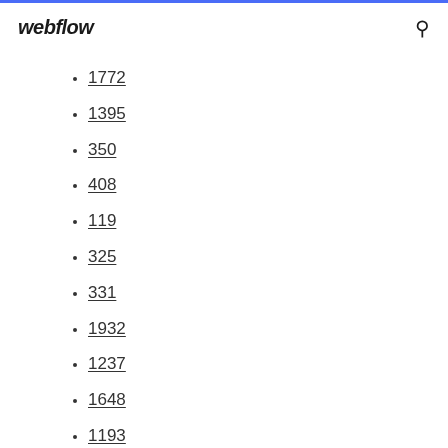webflow
1772
1395
350
408
119
325
331
1932
1237
1648
1193
1150